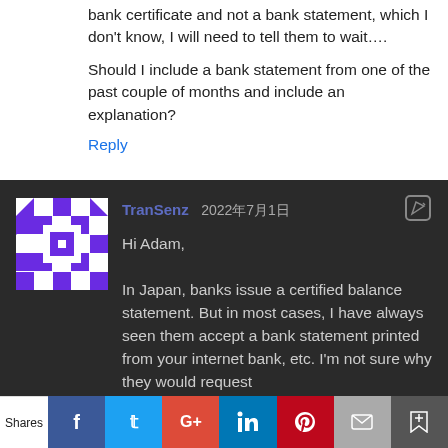bank certificate and not a bank statement, which I don't know, I will need to tell them to wait….

Should I include a bank statement from one of the past couple of months and include an explanation?
Reply
TranSenz 2022年7月1日
Hi Adam,
In Japan, banks issue a certified balance statement. But in most cases, I have always seen them accept a bank statement printed from your internet bank, etc. I'm not sure why they would request